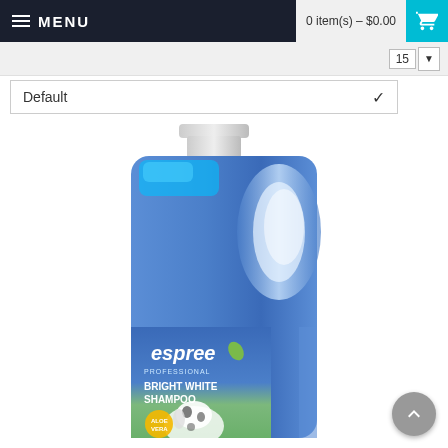MENU   0 item(s) - $0.00
Default
[Figure (photo): Large gallon jug of Espree Bright White Shampoo for dogs, with blue liquid visible through translucent upper portion and label showing a Dalmatian dog and Aloe Vera badge]